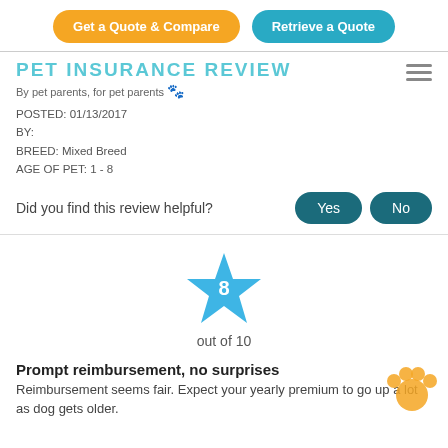Get a Quote & Compare | Retrieve a Quote
PET INSURANCE REVIEW
By pet parents, for pet parents 🐾
POSTED: 01/13/2017
BY:
BREED: Mixed Breed
AGE OF PET: 1 - 8
Did you find this review helpful?
[Figure (infographic): Blue star rating badge with number 8 in center, labeled 'out of 10']
Prompt reimbursement, no surprises
Reimbursement seems fair. Expect your yearly premium to go up a lot as dog gets older.